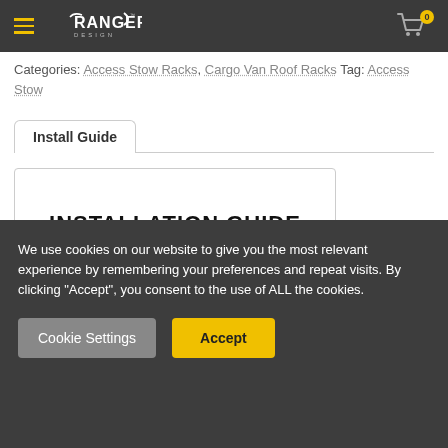Ranger Design — navigation header with hamburger menu and cart icon (badge: 0)
Categories: Access Stow Racks, Cargo Van Roof Racks Tag: Access Stow
Install Guide
[Figure (screenshot): Preview of an Installation Guide document cover page with bold text 'INSTALLATION GUIDE']
We use cookies on our website to give you the most relevant experience by remembering your preferences and repeat visits. By clicking “Accept”, you consent to the use of ALL the cookies.